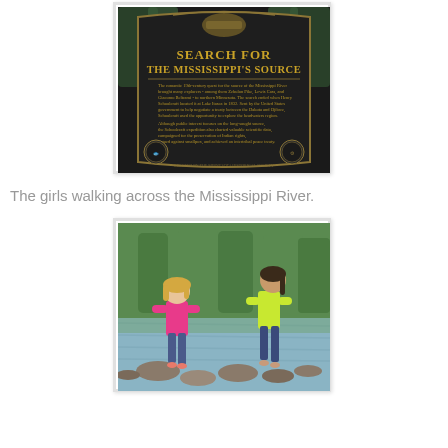[Figure (photo): A historical marker sign reading 'SEARCH FOR THE MISSISSIPPI'S SOURCE' with gold text on a dark background, surrounded by trees.]
The girls walking across the Mississippi River.
[Figure (photo): Two girls standing on rocks at the edge of a calm river with green trees in the background. One girl wears a pink shirt and the other a yellow-green top.]